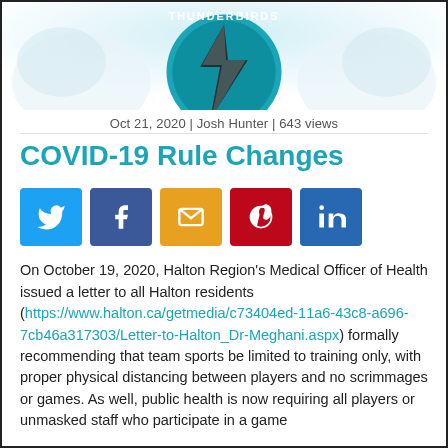[Figure (logo): Sports team logo, teal/black lightning bolt design, partially visible at top]
Oct 21, 2020 | Josh Hunter | 643 views
COVID-19 Rule Changes
[Figure (infographic): Social media share buttons: Twitter (blue), Facebook (dark blue), Email (orange/yellow), Pinterest (red), LinkedIn (blue)]
On October 19, 2020, Halton Region's Medical Officer of Health issued a letter to all Halton residents (https://www.halton.ca/getmedia/c73404ed-11a6-43c8-a696-7cb46a317303/Letter-to-Halton_Dr-Meghani.aspx) formally recommending that team sports be limited to training only, with proper physical distancing between players and no scrimmages or games. As well, public health is now requiring all players or unmasked staff who participate in a game